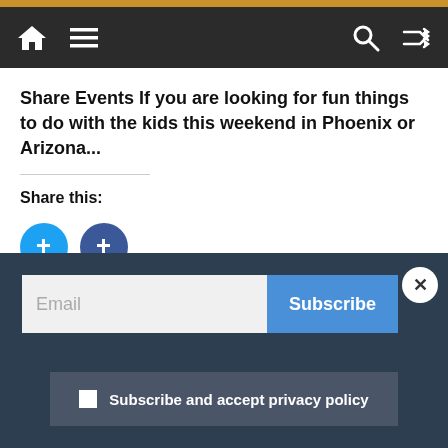Navigation bar with home, menu, search, and shuffle icons
Share Events If you are looking for fun things to do with the kids this weekend in Phoenix or Arizona...
Share this:
[Figure (other): Social share buttons: Twitter (light blue circle) and Facebook (dark blue circle)]
Like this:
Loading...
Email Subscribe
Subscribe and accept privacy policy